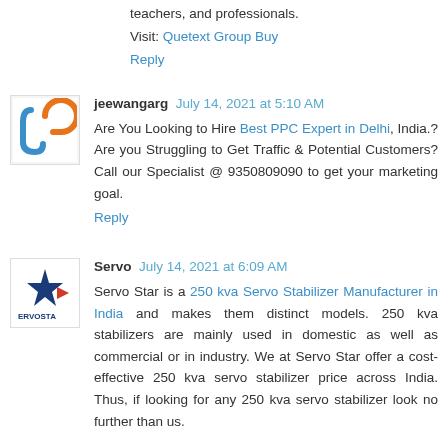teachers, and professionals.
Visit: Quetext Group Buy
Reply
jeewangarg July 14, 2021 at 5:10 AM
Are You Looking to Hire Best PPC Expert in Delhi, India.? Are you Struggling to Get Traffic & Potential Customers? Call our Specialist @ 9350809090 to get your marketing goal.
Reply
Servo July 14, 2021 at 6:09 AM
Servo Star is a 250 kva Servo Stabilizer Manufacturer in India and makes them distinct models. 250 kva stabilizers are mainly used in domestic as well as commercial or in industry. We at Servo Star offer a cost-effective 250 kva servo stabilizer price across India. Thus, if looking for any 250 kva servo stabilizer look no further than us.